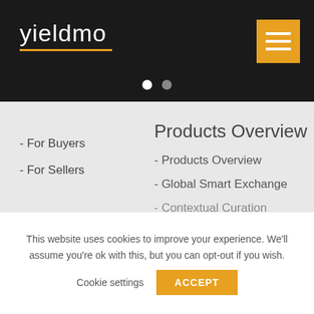[Figure (logo): Yieldmo logo with white text on dark background and orange underline, plus orange hamburger menu button]
[Figure (other): Carousel navigation dots: one white active dot and one grey inactive dot]
- For Buyers
- For Sellers
Products Overview
- Products Overview
- Global Smart Exchange
- Contextual Curation
This website uses cookies to improve your experience. We'll assume you're ok with this, but you can opt-out if you wish.
Cookie settings
ACCEPT